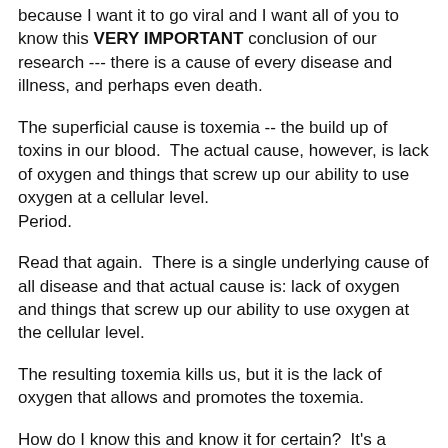because I want it to go viral and I want all of you to know this VERY IMPORTANT conclusion of our research --- there is a cause of every disease and illness, and perhaps even death.
The superficial cause is toxemia -- the build up of toxins in our blood.  The actual cause, however, is lack of oxygen and things that screw up our ability to use oxygen at a cellular level.
Period.
Read that again.  There is a single underlying cause of all disease and that actual cause is: lack of oxygen and things that screw up our ability to use oxygen at the cellular level.
The resulting toxemia kills us, but it is the lack of oxygen that allows and promotes the toxemia.
How do I know this and know it for certain?  It's a combination of research studies and clinical results, epidemiology, a long, long trail of things that should be present and aren't, relationships between the causes and